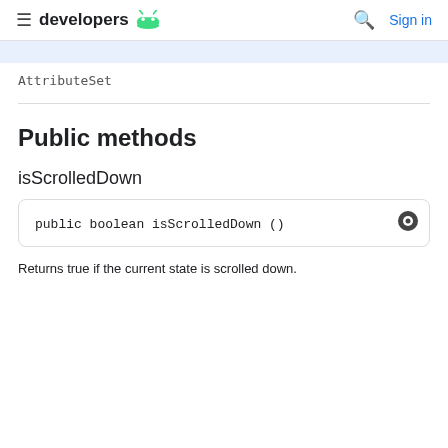developers [android logo] / Search / Sign in
AttributeSet
Public methods
isScrolledDown
public boolean isScrolledDown ()
Returns true if the current state is scrolled down.